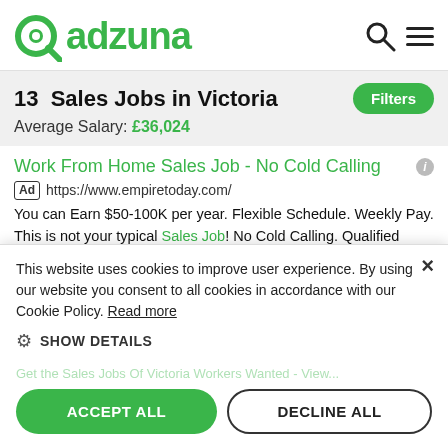[Figure (logo): Adzuna logo with green circular icon and search/menu icons]
13  Sales Jobs in Victoria
Average Salary: £36,024
Work From Home Sales Job - No Cold Calling
Ad https://www.empiretoday.com/
You can Earn $50-100K per year. Flexible Schedule. Weekly Pay. This is not your typical Sales Job! No Cold Calling. Qualified Leads...
★★★★½ advertiser rating
Job Opportunities
Our Culture
Earn Incentive...
Flexible Job
This website uses cookies to improve user experience. By using our website you consent to all cookies in accordance with our Cookie Policy. Read more
SHOW DETAILS
ACCEPT ALL
DECLINE ALL